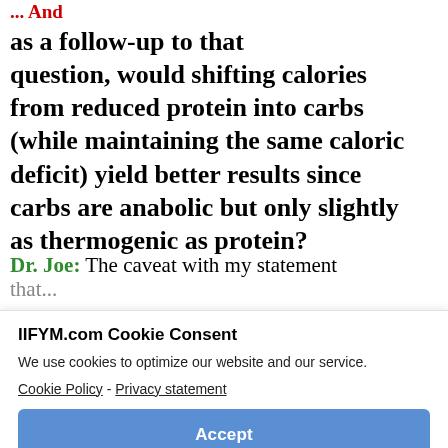... And as a follow-up to that question, would shifting calories from reduced protein into carbs (while maintaining the same caloric deficit) yield better results since carbs are anabolic but only slightly as thermogenic as protein?
Dr. Joe: The caveat with my statement that...
IIFYM.com Cookie Consent
We use cookies to optimize our website and our service.
Cookie Policy  -  Privacy statement
Accept
The...